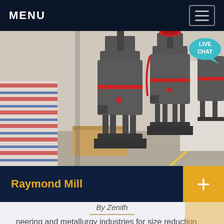MENU
[Figure (photo): Industrial Raymond Mill machines (large grey cylindrical grinding mills) in a factory/warehouse setting, with a worker in a striped shirt visible on the left side.]
[Figure (infographic): LIVE CHAT speech bubble badge in teal color, positioned top-right over the photo.]
Raymond Mill
By Zenith
neering and metallurgy industries for size reduction, dispersion, or specialized needs, powder generation and processing for industrial process.